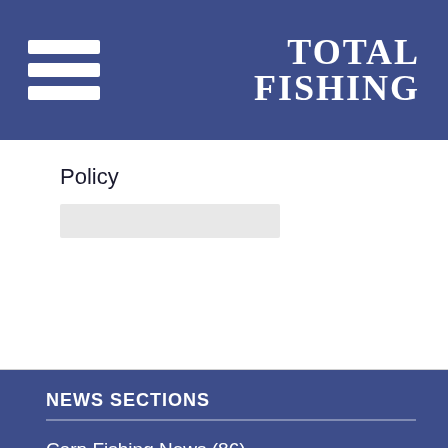TOTAL FISHING
Policy
NEWS SECTIONS
Carp Fishing News (86)
Coarse Fishing News (214)
Fishery News (36)
Fly Fishing News (243)